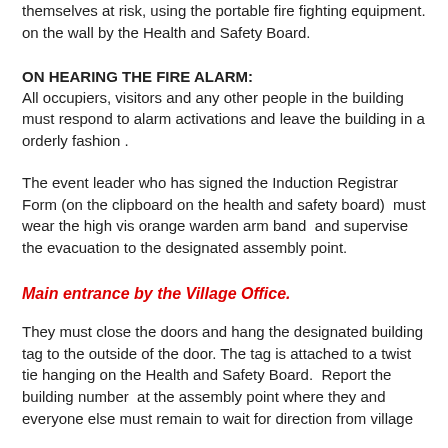themselves at risk, using the portable fire fighting equipment. on the wall by the Health and Safety Board.
ON HEARING THE FIRE ALARM:
All occupiers, visitors and any other people in the building must respond to alarm activations and leave the building in a orderly fashion .
The event leader who has signed the Induction Registrar Form (on the clipboard on the health and safety board)  must wear the high vis orange warden arm band  and supervise the evacuation to the designated assembly point.
Main entrance by the Village Office.
They must close the doors and hang the designated building tag to the outside of the door. The tag is attached to a twist tie hanging on the Health and Safety Board.  Report the  building number  at the assembly point where they and everyone else must remain to wait for direction from village